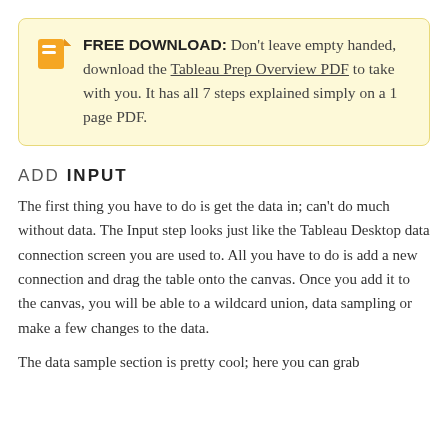FREE DOWNLOAD: Don't leave empty handed, download the Tableau Prep Overview PDF to take with you. It has all 7 steps explained simply on a 1 page PDF.
ADD INPUT
The first thing you have to do is get the data in; can't do much without data. The Input step looks just like the Tableau Desktop data connection screen you are used to. All you have to do is add a new connection and drag the table onto the canvas. Once you add it to the canvas, you will be able to a wildcard union, data sampling or make a few changes to the data.
The data sample section is pretty cool; here you can grab